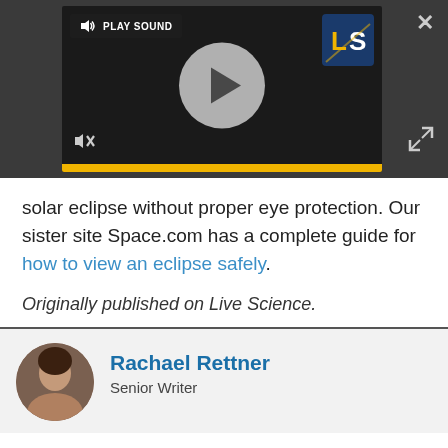[Figure (screenshot): Embedded video player with play button, sound icon, PLAY SOUND label, Live Science logo, mute icon, yellow progress bar, close (X) button, and expand button on dark background]
solar eclipse without proper eye protection. Our sister site Space.com has a complete guide for how to view an eclipse safely.
Originally published on Live Science.
Rachael Rettner
Senior Writer